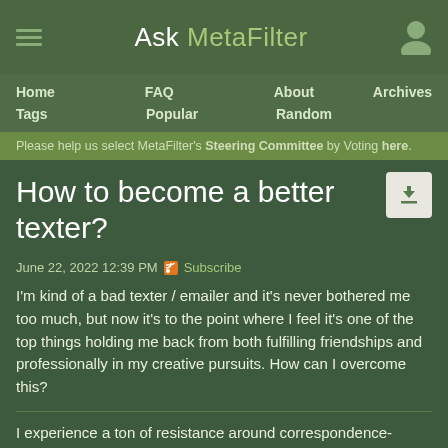Ask MetaFilter
Home  FAQ  About  Archives  Tags  Popular  Random
Please help us select MetaFilter's Steering Committee by Voting here.
How to become a better texter?
June 22, 2022 12:39 PM  Subscribe
I'm kind of a bad texter / emailer and it's never bothered me too much, but now it's to the point where I feel it's one of the top things holding me back from both fulfilling friendships and professionally in my creative pursuits. How can I overcome this?
I experience a ton of resistance around correspondence-